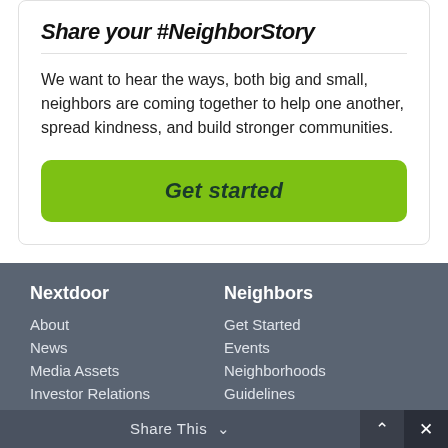Share your #NeighborStory
We want to hear the ways, both big and small, neighbors are coming together to help one another, spread kindness, and build stronger communities.
Get started
Nextdoor
About
News
Media Assets
Investor Relations
Blog
Careers
Help
Neighbors
Get Started
Events
Neighborhoods
Guidelines
Anti-Racism Resources
Share This  ∨  ∧  ×